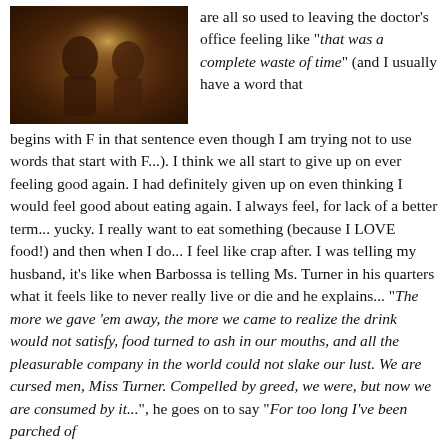[Figure (photo): Two people in what appears to be a candlelit scene, reminiscent of a period film (Pirates of the Caribbean style).]
are all so used to leaving the doctor's office feeling like “that was a complete waste of time” (and I usually have a word that begins with F in that sentence even though I am trying not to use words that start with F...). I think we all start to give up on ever feeling good again. I had definitely given up on even thinking I would feel good about eating again. I always feel, for lack of a better term... yucky. I really want to eat something (because I LOVE food!) and then when I do... I feel like crap after. I was telling my husband, it’s like when Barbossa is telling Ms. Turner in his quarters what it feels like to never really live or die and he explains... “The more we gave ’em away, the more we came to realize the drink would not satisfy, food turned to ash in our mouths, and all the pleasurable company in the world could not slake our lust. We are cursed men, Miss Turner. Compelled by greed, we were, but now we are consumed by it...”, he goes on to say “For too long I’ve been parched of